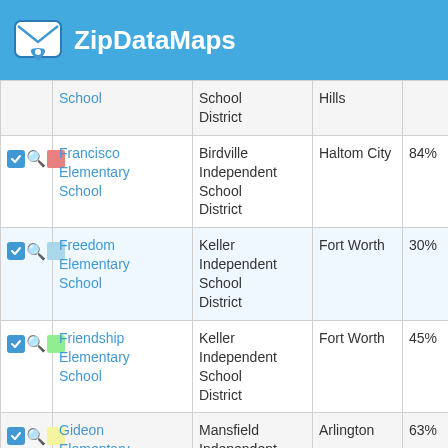ZipDataMaps
|  | School | District | City | % |
| --- | --- | --- | --- | --- |
|  | School | School District | Hills |  |
|  | Francisco Elementary School | Birdville Independent School District | Haltom City | 84% |
|  | Freedom Elementary School | Keller Independent School District | Fort Worth | 30% |
|  | Friendship Elementary School | Keller Independent School District | Fort Worth | 45% |
|  | Gideon Elementary School | Mansfield Independent School District | Arlington | 63% |